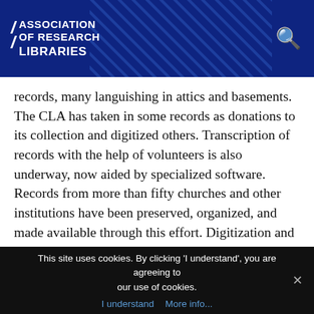ASSOCIATION OF RESEARCH LIBRARIES
records, many languishing in attics and basements. The CLA has taken in some records as donations to its collection and digitized others. Transcription of records with the help of volunteers is also underway, now aided by specialized software. Records from more than fifty churches and other institutions have been preserved, organized, and made available through this effort. Digitization and sharing of records have been boosted by three successive Humanities References and Resources grants from the National Endowment for the Humanities supporting the New England Hidden Histories
This site uses cookies. By clicking 'I understand', you are agreeing to our use of cookies. I understand  More info...